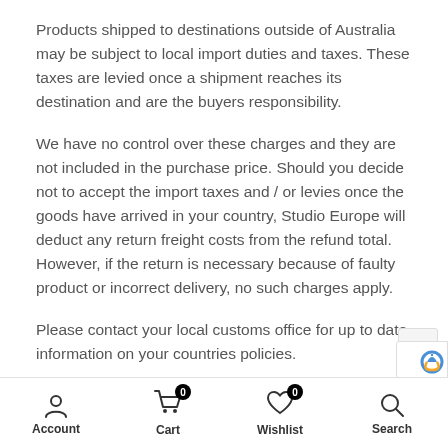Products shipped to destinations outside of Australia may be subject to local import duties and taxes. These taxes are levied once a shipment reaches its destination and are the buyers responsibility.
We have no control over these charges and they are not included in the purchase price. Should you decide not to accept the import taxes and / or levies once the goods have arrived in your country, Studio Europe will deduct any return freight costs from the refund total. However, if the return is necessary because of faulty product or incorrect delivery, no such charges apply.
Please contact your local customs office for up to date information on your countries policies.
Account  Cart 0  Wishlist 0  Search